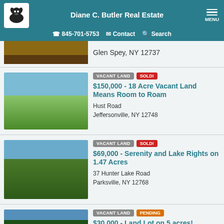Diane C. Butler Real Estate | 845-701-5753 | Contact | Search
Glen Spey, NY 12737
VACANT LAND | SOLD! | $150,000 - 18 Acre Vacant Land Means Room to Roam | Hust Road | Jeffersonville, NY 12748
VACANT LAND | SOLD! | $69,000 - Serenity and Lake Rights on 1.47 Acres | 37 Hunter Lake Road | Parksville, NY 12768
VACANT LAND | PENDING | $30,000 - Land Lot on 5 acres! | Gregory Road